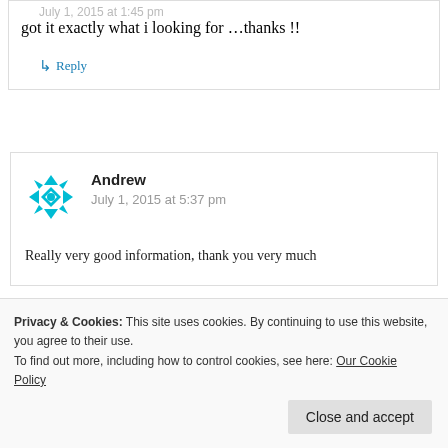July 1, 2015 at 1:45 pm (truncated/partially visible)
got it exactly what i looking for …thanks !!
↳ Reply
Andrew
July 1, 2015 at 5:37 pm
Really very good information, thank you very much
Privacy & Cookies: This site uses cookies. By continuing to use this website, you agree to their use. To find out more, including how to control cookies, see here: Our Cookie Policy
Close and accept